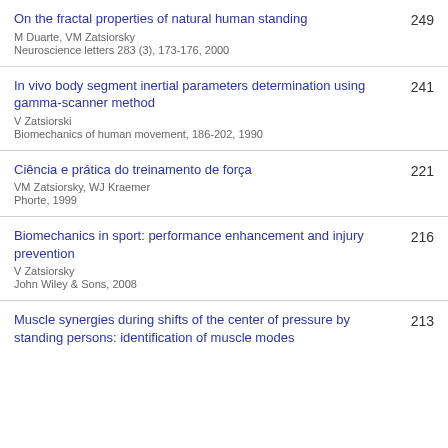On the fractal properties of natural human standing
M Duarte, VM Zatsiorsky
Neuroscience letters 283 (3), 173-176, 2000
249
In vivo body segment inertial parameters determination using gamma-scanner method
V Zatsiorski
Biomechanics of human movement, 186-202, 1990
241
Ciência e prática do treinamento de força
VM Zatsiorsky, WJ Kraemer
Phorte, 1999
221
Biomechanics in sport: performance enhancement and injury prevention
V Zatsiorsky
John Wiley & Sons, 2008
216
Muscle synergies during shifts of the center of pressure by standing persons: identification of muscle modes
213